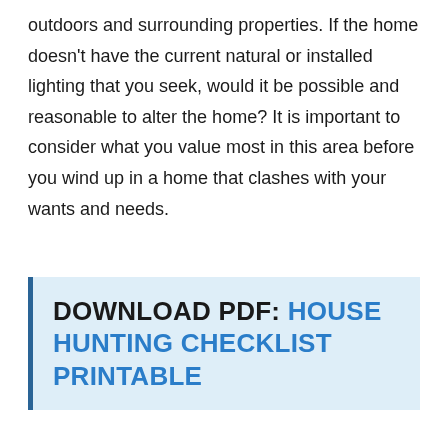outdoors and surrounding properties. If the home doesn't have the current natural or installed lighting that you seek, would it be possible and reasonable to alter the home? It is important to consider what you value most in this area before you wind up in a home that clashes with your wants and needs.
DOWNLOAD PDF: HOUSE HUNTING CHECKLIST PRINTABLE